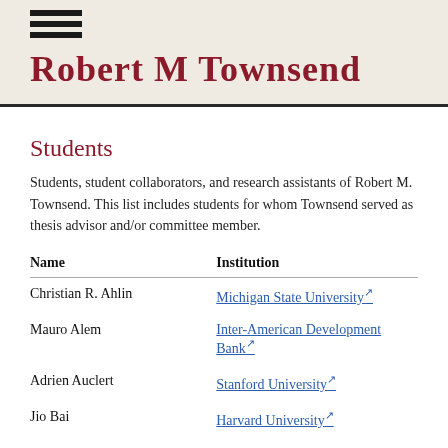Robert M Townsend
Students
Students, student collaborators, and research assistants of Robert M. Townsend. This list includes students for whom Townsend served as thesis advisor and/or committee member.
| Name | Institution |
| --- | --- |
| Christian R. Ahlin | Michigan State University |
| Mauro Alem | Inter-American Development Bank |
| Adrien Auclert | Stanford University |
| Jio Rai | Harvard University |